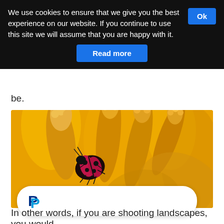We use cookies to ensure that we give you the best experience on our website. If you continue to use this site we will assume that you are happy with it. Ok Read more
be.
[Figure (photo): Macro close-up photo of a pink/red ladybug-like beetle on bright yellow flower stamens against a yellow background]
[Figure (logo): PayPal logo on white rounded card overlay]
In other words, if you are shooting landscapes, you would